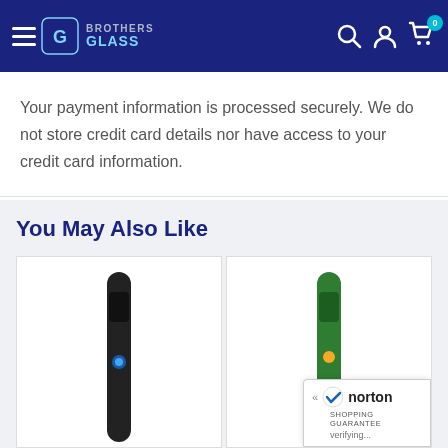Brothers Glass website header with navigation
Your payment information is processed securely. We do not store credit card details nor have access to your credit card information.
You May Also Like
[Figure (photo): Two product cards showing vaporizer/pen-style products. Left card shows a black pen-style device, right card shows a green pen-style device.]
[Figure (logo): Norton Shopping Guarantee badge with checkmark logo and 'verifying...' text]